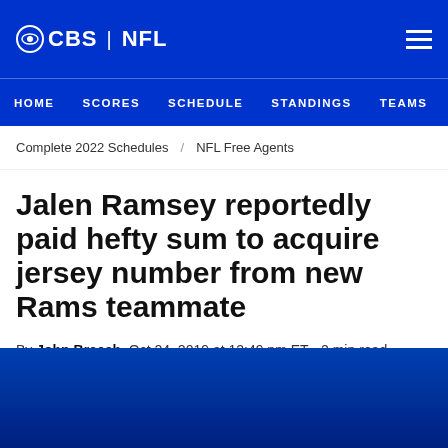CBS | NFL
HOME  SCORES  SCHEDULE  STANDINGS  TEAMS  STATS
Complete 2022 Schedules  /  NFL Free Agents
Jalen Ramsey reportedly paid hefty sum to acquire jersey number from new Rams teammate
By John Breech  Oct 24, 2019 at 12:49 pm ET • 2 min read